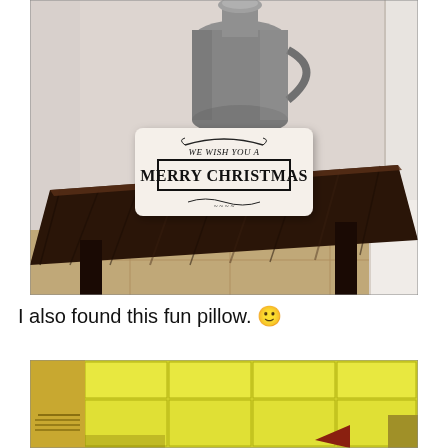[Figure (photo): A rustic dark wood end table with a white rectangular pillow reading 'WE WISH YOU A MERRY CHRISTMAS' and a vintage metal milk jug in the background against a light-colored wall.]
I also found this fun pillow. 🙂
[Figure (photo): Partially visible image showing a bright yellow-green grid or shelving unit with dark accents, partially cropped at the bottom of the page.]